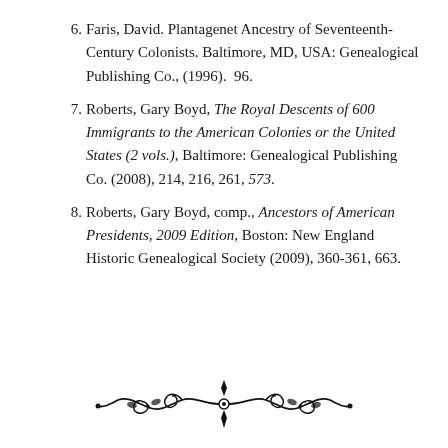6. Faris, David. Plantagenet Ancestry of Seventeenth-Century Colonists. Baltimore, MD, USA: Genealogical Publishing Co., (1996).  96.
7. Roberts, Gary Boyd, The Royal Descents of 600 Immigrants to the American Colonies or the United States (2 vols.), Baltimore: Genealogical Publishing Co. (2008), 214, 216, 261, 573.
8. Roberts, Gary Boyd, comp., Ancestors of American Presidents, 2009 Edition, Boston: New England Historic Genealogical Society (2009), 360-361, 663.
[Figure (illustration): Decorative ornamental divider with floral and scroll motifs centered at the bottom of the page]